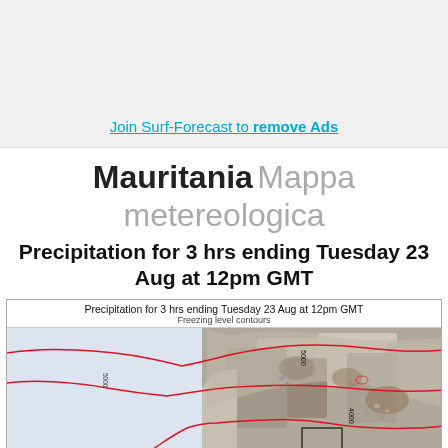[Figure (other): Advertisement banner area at top of page (gray background)]
Join Surf-Forecast to remove Ads
Mauritania Mappa metereologica
Precipitation for 3 hrs ending Tuesday 23 Aug at 12pm GMT
[Figure (map): Meteorological precipitation map for Mauritania showing freezing level contours for Tuesday 23 Aug at 12pm GMT. The map shows ocean areas in light blue/lavender on the left, mountainous terrain with shaded relief on the right, and red contour lines throughout indicating freezing levels. Elevation contour labels visible including 5000 and 4000. A black rectangle marks a location near the coast/mountainous border.]